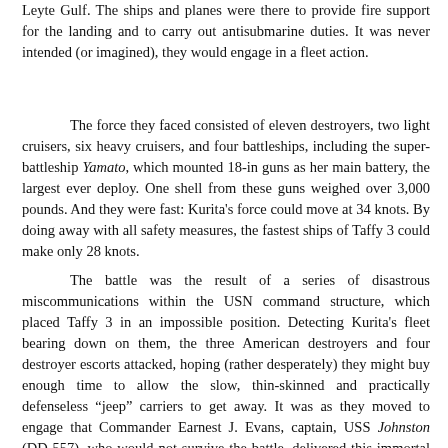Leyte Gulf. The ships and planes were there to provide fire support for the landing and to carry out antisubmarine duties. It was never intended (or imagined), they would engage in a fleet action.
The force they faced consisted of eleven destroyers, two light cruisers, six heavy cruisers, and four battleships, including the super-battleship Yamato, which mounted 18-in guns as her main battery, the largest ever deploy. One shell from these guns weighed over 3,000 pounds. And they were fast: Kurita's force could move at 34 knots. By doing away with all safety measures, the fastest ships of Taffy 3 could make only 28 knots.
The battle was the result of a series of disastrous miscommunications within the USN command structure, which placed Taffy 3 in an impossible position. Detecting Kurita's fleet bearing down on them, the three American destroyers and four destroyer escorts attacked, hoping (rather desperately) they might buy enough time to allow the slow, thin-skinned and practically defenseless "jeep" carriers to get away. It was as they moved to engage that Commander Earnest J. Evans, captain, USS Johnston (DD-557), who would not survive the battle, delivered this immortal address to his crew:
"A large Japanese fleet has been contacted. They are fifteen miles away and headed in our direction. They are believed to have four battleships, eight...